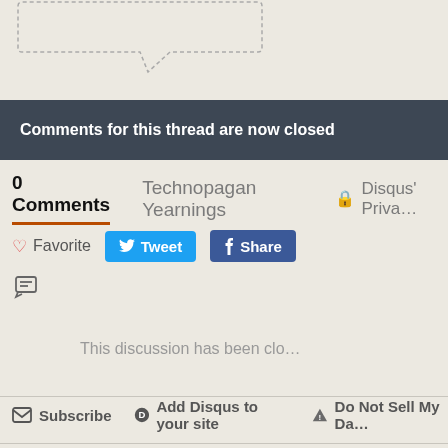[Figure (illustration): Partial speech bubble / thought bubble outline at top of page, dotted border style]
Comments for this thread are now closed
0 Comments   Technopagan Yearnings   🔒 Disqus' Priva...
♡ Favorite   Tweet   f Share
[Figure (illustration): Chat/comment icon]
This discussion has been clo...
✉ Subscribe   D Add Disqus to your site   ⚠ Do Not Sell My Da...